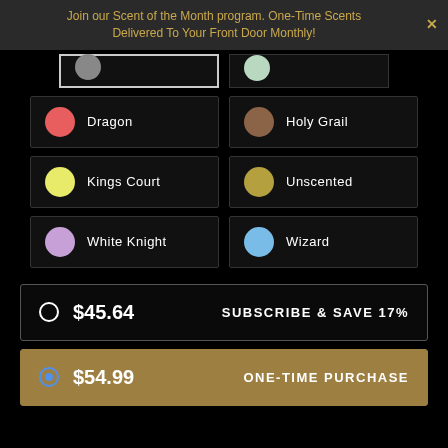Join our Scent of the Month program. One-Time Scents Delivered To Your Front Door Monthly!
Dragon
Holy Grail
Kings Court
Unscented
White Knight
Wizard
$45.64  SUBSCRIBE & SAVE 17%
$54.99  ONE-TIME PURCHASE